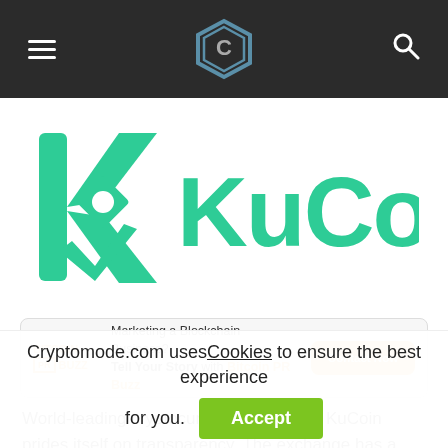CryptoMode navigation bar with hamburger menu, logo, and search icon
[Figure (logo): KuCoin logo — large green stylized KC icon and KUCOIN wordmark on white background]
[Figure (infographic): Bitcoin PR Buzz advertisement banner: 'Marketing a Blockchain Business? Tell Your Story with Bitcoin PR Buzz' with Contact Now button]
World-leading cryptocurrency exchange KuCoin prides itself on transparency. The exchange has a native token, dubbed
Cryptomode.com uses Cookies to ensure the best experience for you.